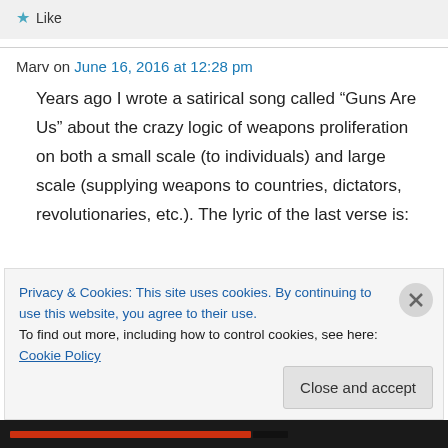Like
Marv on June 16, 2016 at 12:28 pm
Years ago I wrote a satirical song called “Guns Are Us” about the crazy logic of weapons proliferation on both a small scale (to individuals) and large scale (supplying weapons to countries, dictators, revolutionaries, etc.). The lyric of the last verse is:
Privacy & Cookies: This site uses cookies. By continuing to use this website, you agree to their use.
To find out more, including how to control cookies, see here: Cookie Policy
Close and accept